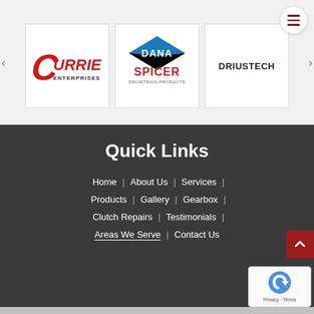[Figure (logo): Currie Enterprises logo - red stylized C with CURRIE text and ENTERPRISES below]
[Figure (logo): Dana Spicer logo - diamond shape with DANA text above and SPICER DRIVETRAIN PRODUCTS below]
[Figure (logo): DRIUSTECH text logo]
Quick Links
Home | About Us | Services |
Products | Gallery | Gearbox |
Clutch Repairs | Testimonials |
Areas We Serve | Contact Us